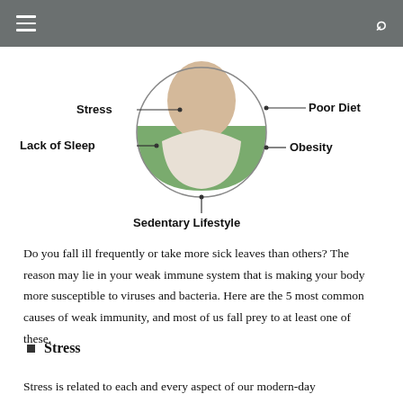[Figure (infographic): Diagram showing 5 causes of weak immunity arranged around a circular image of a person: Stress (top-left), Poor Diet (top-right), Lack of Sleep (middle-left), Obesity (middle-right), Sedentary Lifestyle (bottom-center). Lines connect each label to the circle.]
Do you fall ill frequently or take more sick leaves than others? The reason may lie in your weak immune system that is making your body more susceptible to viruses and bacteria. Here are the 5 most common causes of weak immunity, and most of us fall prey to at least one of these.
Stress
Stress is related to each and every aspect of our modern-day